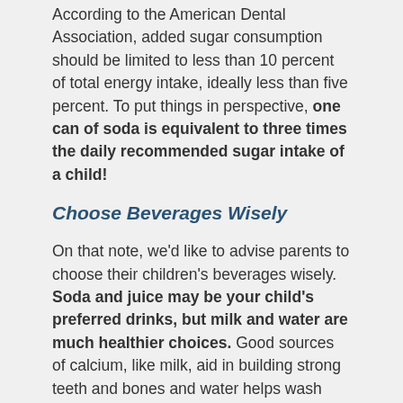According to the American Dental Association, added sugar consumption should be limited to less than 10 percent of total energy intake, ideally less than five percent. To put things in perspective, one can of soda is equivalent to three times the daily recommended sugar intake of a child!
Choose Beverages Wisely
On that note, we'd like to advise parents to choose their children's beverages wisely. Soda and juice may be your child's preferred drinks, but milk and water are much healthier choices. Good sources of calcium, like milk, aid in building strong teeth and bones and water helps wash away food particles that may be clinging to teeth, thus protecting against decay.
Sip All Day, Get Decay
Whether your child is drinking milk, juice or soda, don't let them sip it throughout the day. Constant